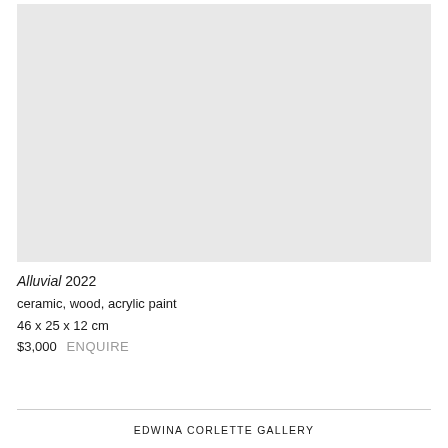[Figure (photo): Light grey rectangular image area representing an artwork photograph, placeholder/blank appearance]
Alluvial 2022
ceramic, wood, acrylic paint
46 x 25 x 12 cm
$3,000  ENQUIRE
EDWINA CORLETTE GALLERY